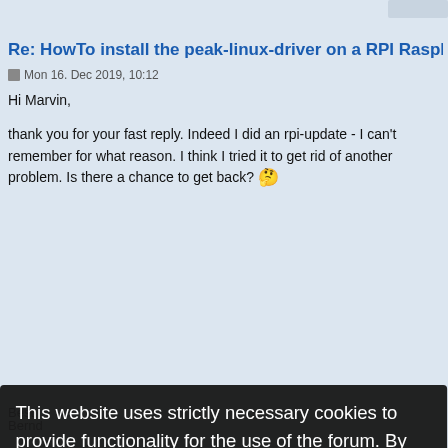Re: HowTo install the peak-linux-driver on a RPI Raspbian im
Mon 16. Dec 2019, 10:12
Hi Marvin,
thank you for your fast reply. Indeed I did an rpi-update - I can't remember for what reason. I think I tried it to get rid of another problem. Is there a chance to get back? 😮
This website uses strictly necessary cookies to provide functionality for the use of the forum. By browsing this website you agree to the use of cookies. Detailed information on their use can be found in our privacy policy.
Privacy Policy    Learn more
Got it!
Re: HowTo install the peak-linux-driver on a RPI Raspbian im
Mon 16. Dec 2019, 10:26
Hello Bernd,
Unfortunately, once rpi-update has done its work there are two options available: